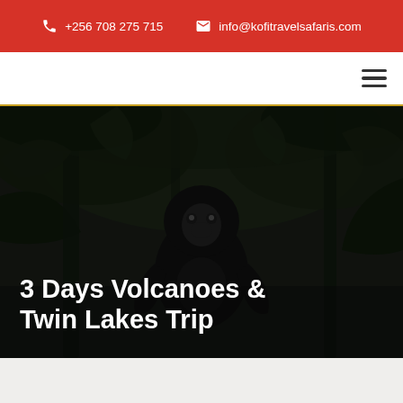+256 708 275 715   info@kofitravelsafaris.com
[Figure (photo): Black and white colobus monkey in a dark forest setting, used as hero background image]
3 Days Volcanoes & Twin Lakes Trip